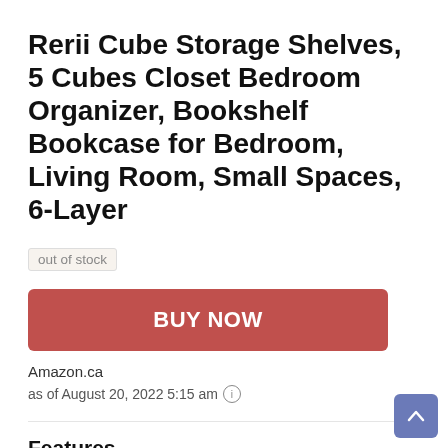Rerii Cube Storage Shelves, 5 Cubes Closet Bedroom Organizer, Bookshelf Bookcase for Bedroom, Living Room, Small Spaces, 6-Layer
out of stock
BUY NOW
Amazon.ca
as of August 20, 2022 5:15 am
Features
The storage shelves are lightweight and sturdy: Thick